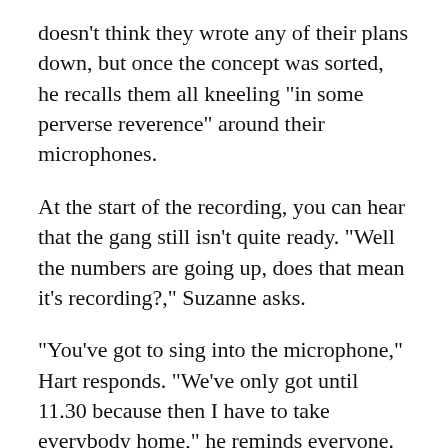doesn’t think they wrote any of their plans down, but once the concept was sorted, he recalls them all kneeling “in some perverse reverence” around their microphones.
At the start of the recording, you can hear that the gang still isn’t quite ready. “Well the numbers are going up, does that mean it’s recording?,” Suzanne asks.
“You’ve got to sing into the microphone,” Hart responds. “We’ve only got until 11.30 because then I have to take everybody home,” he reminds everyone.
The song itself is a short two minutes of atonal